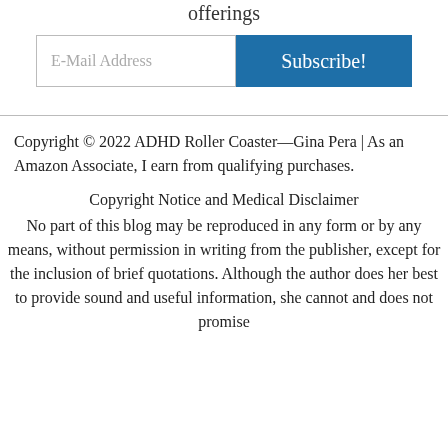offerings
E-Mail Address  Subscribe!
Copyright © 2022 ADHD Roller Coaster—Gina Pera | As an Amazon Associate, I earn from qualifying purchases.
Copyright Notice and Medical Disclaimer
No part of this blog may be reproduced in any form or by any means, without permission in writing from the publisher, except for the inclusion of brief quotations. Although the author does her best to provide sound and useful information, she cannot and does not promise